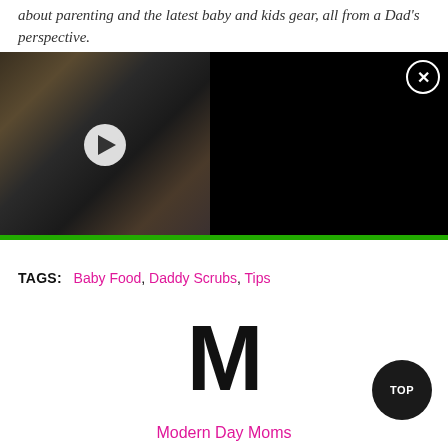about parenting and the latest baby and kids gear, all from a Dad's perspective.
[Figure (screenshot): Video banner with thumbnail showing person on phone with dog, and title text: Dog Gets Excited as Owner Says His Favourite Words While Pretending to Talk on Phone]
TAGS: Baby Food, Daddy Scrubs, Tips
[Figure (logo): Large bold letter M]
Modern Day Moms